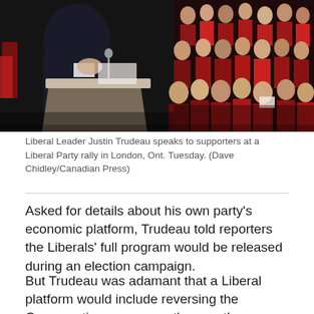[Figure (photo): Liberal Leader Justin Trudeau speaking at a podium at a Liberal Party rally, with an audience visible in the background wearing red.]
Liberal Leader Justin Trudeau speaks to supporters at a Liberal Party rally in London, Ont. Tuesday. (Dave Chidley/Canadian Press)
Asked for details about his own party's economic platform, Trudeau told reporters the Liberals' full program would be released during an election campaign.
But Trudeau was adamant that a Liberal platform would include reversing the Conservative government's recently announced income-splitting plan.